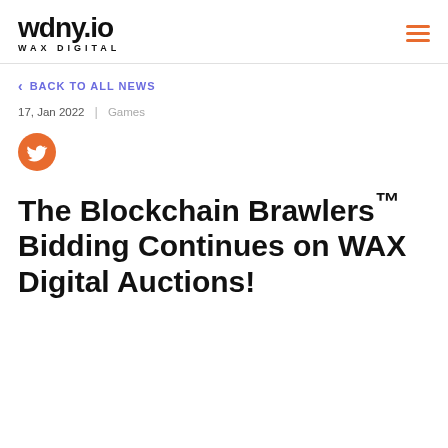wdny.io WAX DIGITAL
< BACK TO ALL NEWS
17, Jan 2022 | Games
[Figure (logo): Twitter bird icon in orange circle]
The Blockchain Brawlers™ Bidding Continues on WAX Digital Auctions!